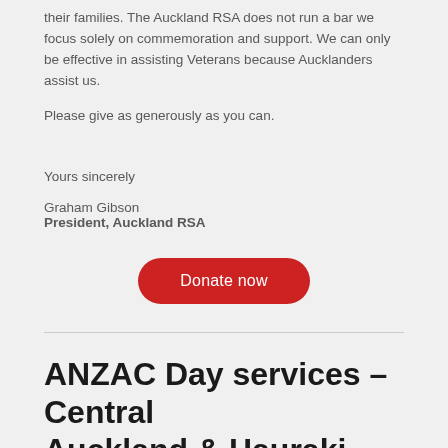their families.  The Auckland RSA does not run a bar we focus solely on commemoration and support. We can only be effective in assisting Veterans because Aucklanders assist us.
Please give as generously as you can.
Yours sincerely
Graham Gibson
President,  Auckland RSA
[Figure (other): Red rounded-rectangle button with white text reading 'Donate now']
ANZAC Day services – Central Auckland & Hauraki Gulf Islands